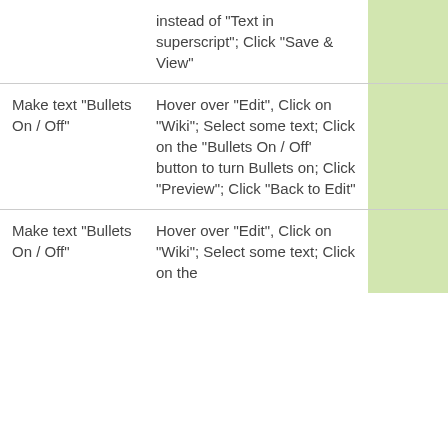|  | instead of "Text in superscript"; Click "Save & View" |  | - | - |
| Make text "Bullets On / Off" | Hover over "Edit", Click on "Wiki"; Select some text; Click on the "Bullets On / Off' button to turn Bullets on; Click "Preview"; Click "Back to Edit" |  | - | - |
| Make text "Bullets On / Off" | Hover over "Edit", Click on "Wiki"; Select some text; Click on the |  | - | - |